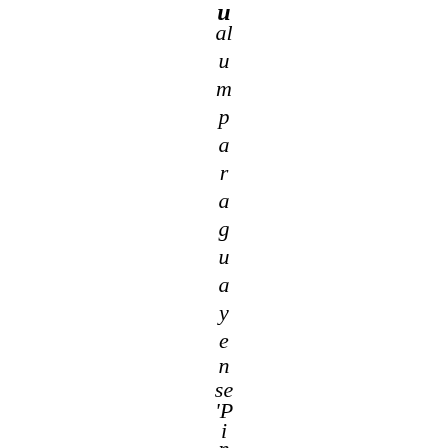al u m p a r a g u a y e n se 'P i n k y'